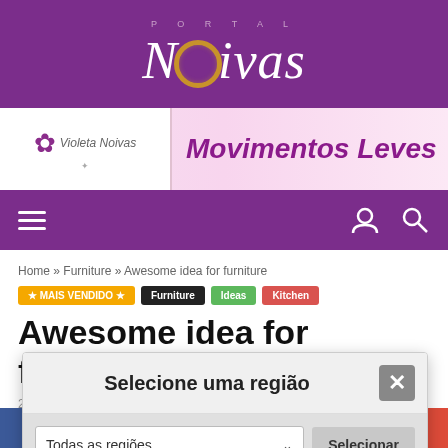[Figure (logo): Portal Noivas logo with stylized script text and gold ring on purple background]
[Figure (illustration): Violeta Noivas banner with flower logo and 'Movimentos Leves' text in purple italic on pink gradient background]
Navigation bar with hamburger menu and user/search icons on purple background
Home » Furniture » Awesome idea for furniture
★ MAIS VENDIDO ★
Furniture
Ideas
Kitchen
Awesome idea for furniture
24/12/2...
[Figure (screenshot): Modal dialog 'Selecione uma região' with dropdown 'Todas as regiões' and 'Selecionar' button]
Social share bar: Facebook, Twitter, Pinterest, Google+